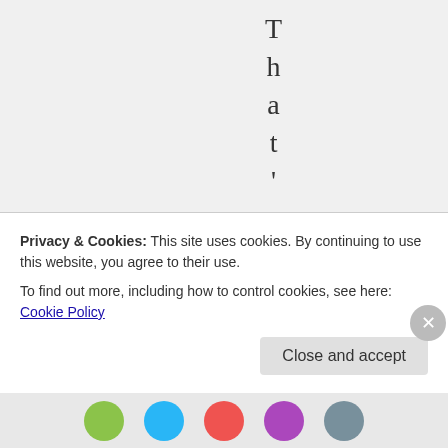T h a t ' s d i s t i
Privacy & Cookies: This site uses cookies. By continuing to use this website, you agree to their use.
To find out more, including how to control cookies, see here: Cookie Policy
Close and accept